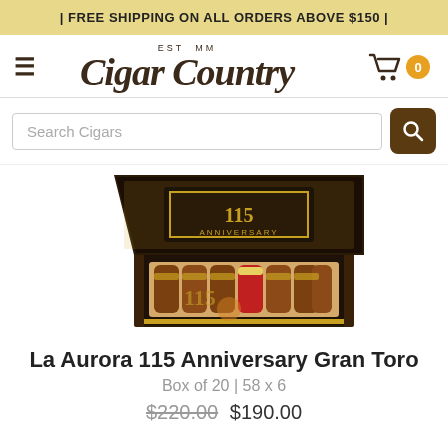| FREE SHIPPING ON ALL ORDERS ABOVE $150 |
[Figure (logo): Cigar Country logo with EST MM above in small caps and script/italic font]
[Figure (photo): Open box of La Aurora 115 Anniversary Gran Toro cigars — a dark decorative humidor box with cigars arranged inside, one red-banded cigar visible]
La Aurora 115 Anniversary Gran Toro
Box of 20 | 58 x 6
$220.00 $190.00